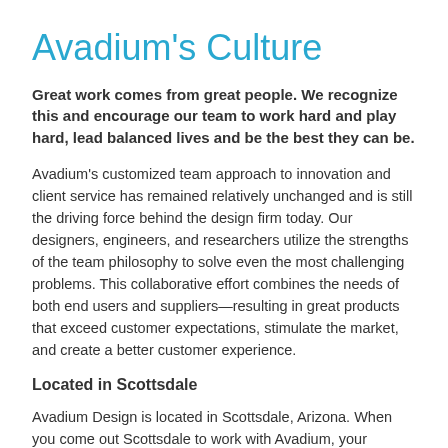Avadium's Culture
Great work comes from great people. We recognize this and encourage our team to work hard and play hard, lead balanced lives and be the best they can be.
Avadium's customized team approach to innovation and client service has remained relatively unchanged and is still the driving force behind the design firm today. Our designers, engineers, and researchers utilize the strengths of the team philosophy to solve even the most challenging problems. This collaborative effort combines the needs of both end users and suppliers—resulting in great products that exceed customer expectations, stimulate the market, and create a better customer experience.
Located in Scottsdale
Avadium Design is located in Scottsdale, Arizona. When you come out Scottsdale to work with Avadium, your account manager will let you know about life in Scottsdale and Phoenix. Endless outdoor adventure, world-class golf, unparalleled shopping, vibrant cultures, historic landmarks and amazing art scenes are just the beginning of all the things you can see, do and experience in Arizona.